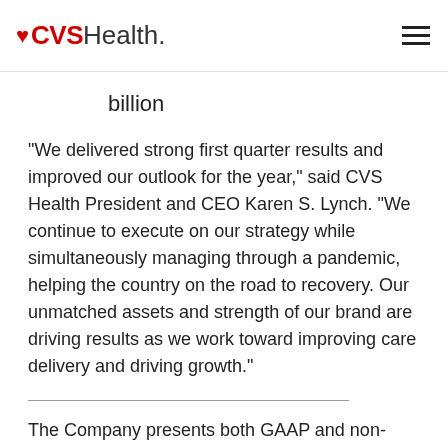CVS Health.
billion
"We delivered strong first quarter results and improved our outlook for the year," said CVS Health President and CEO Karen S. Lynch. "We continue to execute on our strategy while simultaneously managing through a pandemic, helping the country on the road to recovery. Our unmatched assets and strength of our brand are driving results as we work toward improving care delivery and driving growth."
The Company presents both GAAP and non-GAAP financial measures in this press release to assist in the comparison of the Company's past